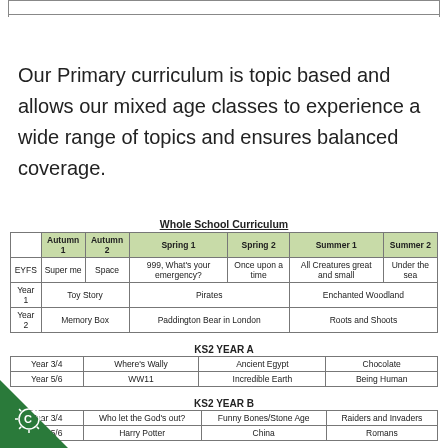Our Primary curriculum is topic based and allows our mixed age classes to experience a wide range of topics and ensures balanced coverage.
Whole School Curriculum
|  | Autumn 1 | Autumn 2 | Spring 1 | Spring 2 | Summer 1 | Summer 2 |
| --- | --- | --- | --- | --- | --- | --- |
| EYFS | Super me | Space | 999, What's your emergency? | Once upon a time | All Creatures great and small | Under the sea |
| Year 1 | Toy Story |  | Pirates |  | Enchanted Woodland |  |
| Year 2 | Memory Box |  | Paddington Bear in London |  | Roots and Shoots |  |
KS2 YEAR A
| Year 3/4 | Where's Wally |  | Ancient Egypt |  | Chocolate |  |
| Year 5/6 | WW11 |  | Incredible Earth |  | Being Human |  |
KS2 YEAR B
| Year 3/4 | Who let the God's out? |  | Funny Bones/Stone Age |  | Raiders and Invaders |  |
| Year 5/6 | Harry Potter |  | China |  | Romans |  |